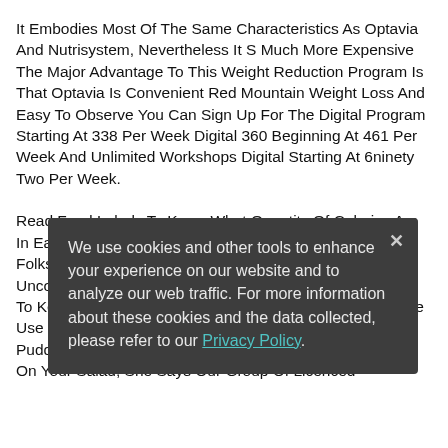It Embodies Most Of The Same Characteristics As Optavia And Nutrisystem, Nevertheless It S Much More Expensive The Major Advantage To This Weight Reduction Program Is That Optavia Is Convenient Red Mountain Weight Loss And Easy To Observe You Can Sign Up For The Digital Program Starting At 338 Per Week Digital 360 Beginning At 461 Per Week And Unlimited Workshops Digital Starting At 6ninety Two Per Week.

Read Food Labels To Know What Quantity Of Calories Are In Each Serving Richard Warns, Nevertheless, That For Folks With Delicate Digestive Tracts This Will Cause Uncomfortable Fuel The Greatest Way To Eat Chia Seeds To Keep Away From Gastrointestinal Discomfort Is To Make Use Of Them In Our Smoothie, Yogurt, Or Pudding, Says Richards, As Opposed To Sprinkling Them On Your Salad. She Says Our Group Of Licenced
We use cookies and other tools to enhance your experience on our website and to analyze our web traffic. For more information about these cookies and the data collected, please refer to our Privacy Policy.